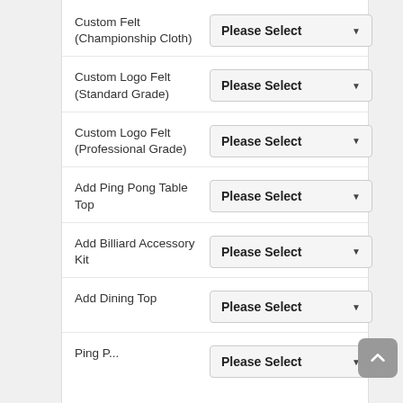Custom Felt (Championship Cloth) — Please Select
Custom Logo Felt (Standard Grade) — Please Select
Custom Logo Felt (Professional Grade) — Please Select
Add Ping Pong Table Top — Please Select
Add Billiard Accessory Kit — Please Select
Add Dining Top — Please Select
Ping P... — Please Select (partial)